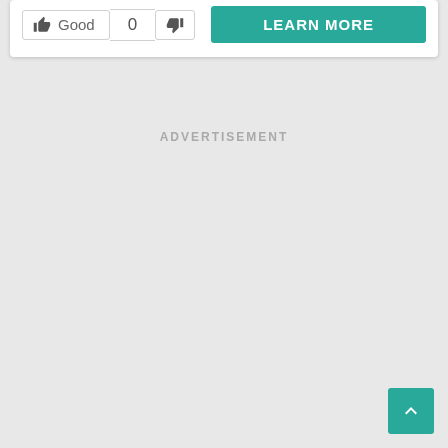[Figure (screenshot): UI card with thumbs up Good button, vote count 0, thumbs down button, and a teal LEARN MORE button]
ADVERTISEMENT
[Figure (other): Back to top button (teal square with upward chevron arrow) in bottom right corner]